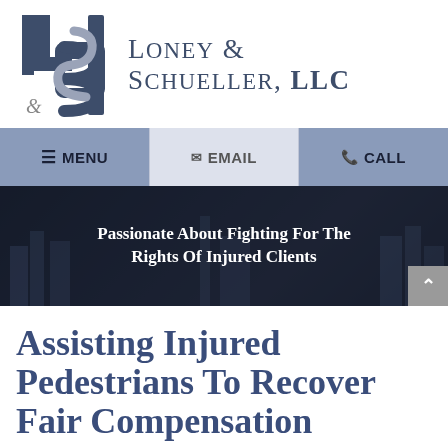[Figure (logo): Loney & Schueller LLC law firm logo: stylized LL&S monogram in dark blue/grey with law firm name text]
[Figure (screenshot): Navigation bar with MENU, EMAIL, and CALL buttons on blue/grey background]
[Figure (photo): Dark banner with city background and white bold text: Passionate About Fighting For The Rights Of Injured Clients]
Assisting Injured Pedestrians To Recover Fair Compensation